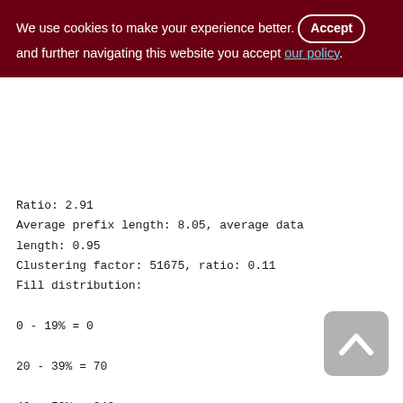We use cookies to make your experience better. By accepting and further navigating this website you accept our policy.
Ratio: 2.91
Average prefix length: 8.05, average data length: 0.95
Clustering factor: 51675, ratio: 0.11
Fill distribution:
0 - 19% = 0
20 - 39% = 70
40 - 59% = 249
60 - 79% = 193
80 - 99% = 74

ZDOC_DATA (229)
Primary pointer page: 632, Index root page: